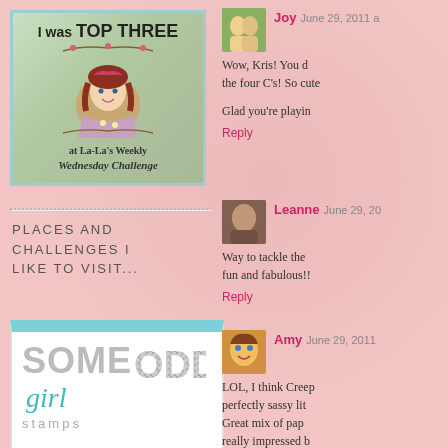[Figure (illustration): Badge image reading 'I was TOP THREE at La-La's Weekly Wednesday Challenge' with a cartoon doll illustration on a green background with teal border]
PLACES AND CHALLENGES I LIKE TO VISIT...
[Figure (logo): Some Odd Girl Stamps logo with teal scalloped border top, large grey SOME letters, smaller grey ODD letters, teal cursive 'girl' text, and grey 'stamps' text]
Joy June 29, 2011 a
Wow, Kris! You d the four C's! So cute
Glad you're playin
Reply
Leanne June 29, 20
Way to tackle the fun and fabulous!!
Reply
Amy June 29, 2011
LOL, I think Creep perfectly sassy lit Great mix of pap really impressed b